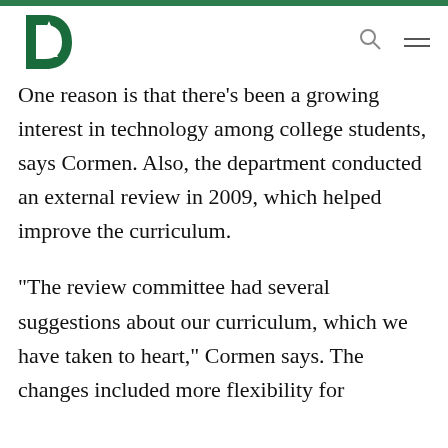Dartmouth College - logo and navigation
One reason is that there’s been a growing interest in technology among college students, says Cormen. Also, the department conducted an external review in 2009, which helped improve the curriculum.
“The review committee had several suggestions about our curriculum, which we have taken to heart,” Cormen says. The changes included more flexibility for